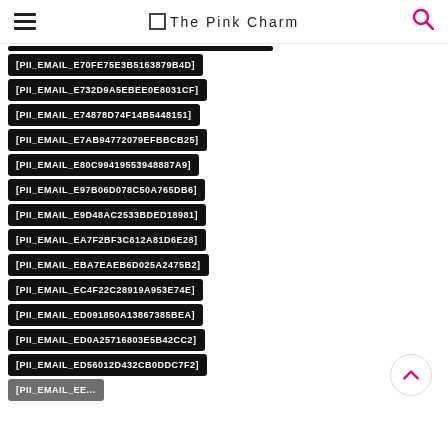The Pink Charm
[PII_EMAIL_E70FE75E3B5163879B4D]
[PII_EMAIL_E732D9A5EBEE0E8031CF]
[PII_EMAIL_E74878D74F14B5448151]
[PII_EMAIL_E7AB94772079EFBBCB25]
[PII_EMAIL_E80C99419553948887A9]
[PII_EMAIL_E97B06D078C50A765DB6]
[PII_EMAIL_E9D48AC2533BDED18981]
[PII_EMAIL_EA7F2BF3C612A81D6E28]
[PII_EMAIL_EBA7EAEB6D025A2475B2]
[PII_EMAIL_EC4F22C28919A953E74E]
[PII_EMAIL_ED091850A13867385BEA]
[PII_EMAIL_ED0A25716803E5B42CC2]
[PII_EMAIL_ED56012D432CB0DDC7F2]